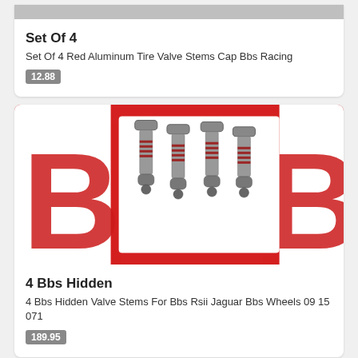[Figure (photo): Partial view of red aluminum tire valve stems cap product image (cropped top)]
Set Of 4
Set Of 4 Red Aluminum Tire Valve Stems Cap Bbs Racing
12.88
[Figure (photo): 4 BBS hidden valve stems displayed on a red BBS logo background showing 4 metal valve stems with red rubber threads]
4 Bbs Hidden
4 Bbs Hidden Valve Stems For Bbs Rsii Jaguar Bbs Wheels 09 15 071
189.95